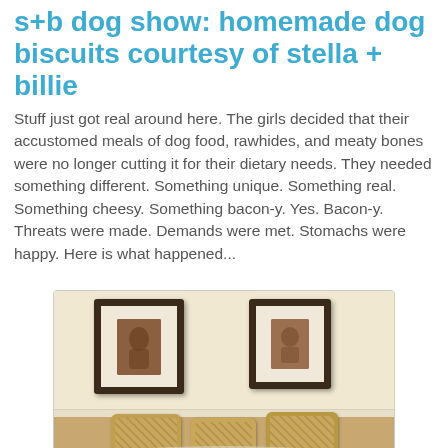s+b dog show: homemade dog biscuits courtesy of stella + billie
Stuff just got real around here. The girls decided that their accustomed meals of dog food, rawhides, and meaty bones were no longer cutting it for their dietary needs. They needed something different. Something unique. Something real. Something cheesy. Something bacon-y. Yes. Bacon-y. Threats were made. Demands were met. Stomachs were happy. Here is what happened...
[Figure (photo): A room with a beige wall featuring two framed dog portrait pictures hanging on it. On the floor/surface below are plates of homemade dog biscuits.]